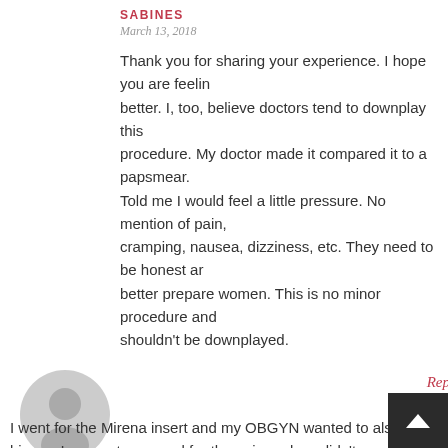SABINES
March 13, 2018
Thank you for sharing your experience. I hope you are feeling better. I, too, believe doctors tend to downplay this procedure. My doctor made it compared it to a papsmear. Told me I would feel a little pressure. No mention of pain, cramping, nausea, dizziness, etc. They need to be honest and better prepare women. This is no minor procedure and shouldn't be downplayed.
[Figure (illustration): Gray default user avatar icon — circular silhouette of a person on a light gray circle background]
Repl
TANYA C.
March 19, 2018
I went for the Mirena insert and my OBGYN wanted to also do a biopsy. I was not prepared for the pain and we didn't even